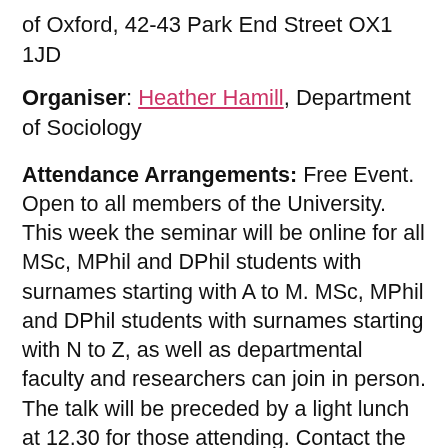of Oxford, 42-43 Park End Street OX1 1JD
Organiser: Heather Hamill, Department of Sociology
Attendance Arrangements: Free Event. Open to all members of the University. This week the seminar will be online for all MSc, MPhil and DPhil students with surnames starting with A to M. MSc, MPhil and DPhil students with surnames starting with N to Z, as well as departmental faculty and researchers can join in person. The talk will be preceded by a light lunch at 12.30 for those attending. Contact the Graduate Studies Administrator if you haven't received a Teams meeting link.
Seminar Description: 'The current moral panic over screens, smartphones and social